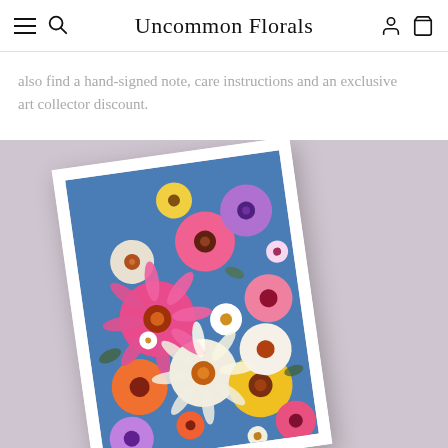Uncommon Florals
also find a hand-signed note, care instructions and an exclusive art collector discount.
[Figure (photo): An art print featuring a dense, colorful collage of illustrated flowers including gerberas, daisies, sunflowers, zinnias in pink, white, yellow, orange, purple on a blue background, displayed at an angle on a lavender surface]